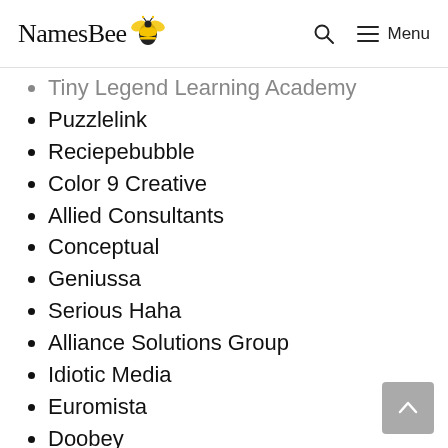NamesBee | Menu
Tiny Legend Learning Academy
Puzzlelink
Reciepebubble
Color 9 Creative
Allied Consultants
Conceptual
Geniussa
Serious Haha
Alliance Solutions Group
Idiotic Media
Euromista
Doobey
Endeavor Partners
David
Personetics
Married Man